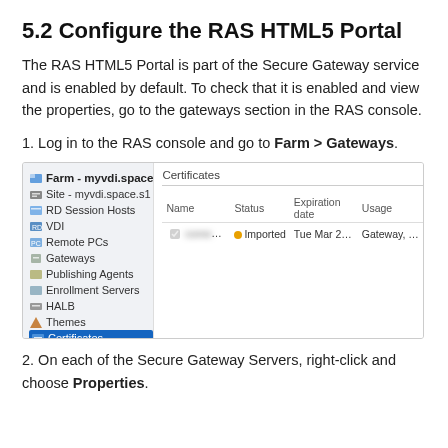5.2 Configure the RAS HTML5 Portal
The RAS HTML5 Portal is part of the Secure Gateway service and is enabled by default. To check that it is enabled and view the properties, go to the gateways section in the RAS console.
1. Log in to the RAS console and go to Farm > Gateways.
[Figure (screenshot): RAS console screenshot showing the Farm tree navigation on the left with Certificates selected (highlighted in blue), and the Certificates tab on the right showing a table with columns Name, Status, Expiration date, Usage, and one row with a blurred certificate name, status Imported (orange dot), Tue Mar 24 1..., Gateway, HALB]
2. On each of the Secure Gateway Servers, right-click and choose Properties.